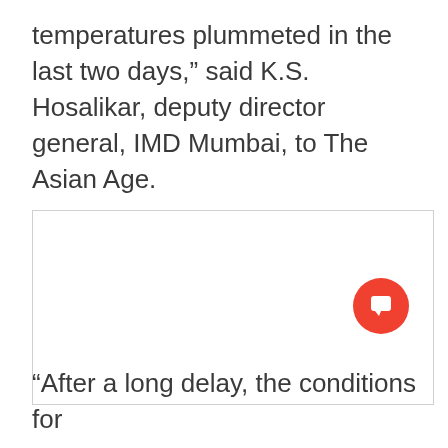temperatures plummeted in the last two days,” said K.S. Hosalikar, deputy director general, IMD Mumbai, to The Asian Age.
[Figure (other): Empty white rectangular image placeholder with a light gray border]
“After a long delay, the conditions for